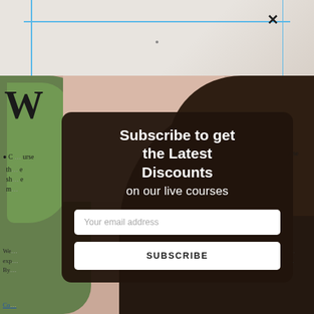[Figure (screenshot): Top portion of a webpage showing a light beige/marble background with blue crosshair alignment lines and a close (X) button in the upper right area.]
[Figure (photo): Background photo showing a close-up of a person's face with dark hair, partially obscured by a green plant leaf on the left side.]
W
C... urse th... e sh... e m...
We... exp... its. By... es.
Co...
[Figure (screenshot): Email subscription modal overlay with dark brown rounded background. Contains headline 'Subscribe to get the Latest Discounts on our live courses', an email input field with placeholder 'Your email address', and a SUBSCRIBE button.]